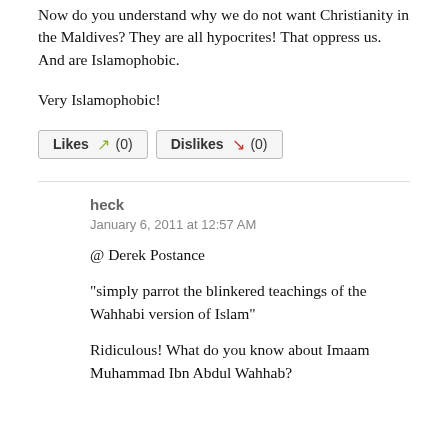Now do you understand why we do not want Christianity in the Maldives? They are all hypocrites! That oppress us. And are Islamophobic.
Very Islamophobic!
Likes (0)   Dislikes (0)
heck
January 6, 2011 at 12:57 AM
@ Derek Postance
"simply parrot the blinkered teachings of the Wahhabi version of Islam"
Ridiculous! What do you know about Imaam Muhammad Ibn Abdul Wahhab?